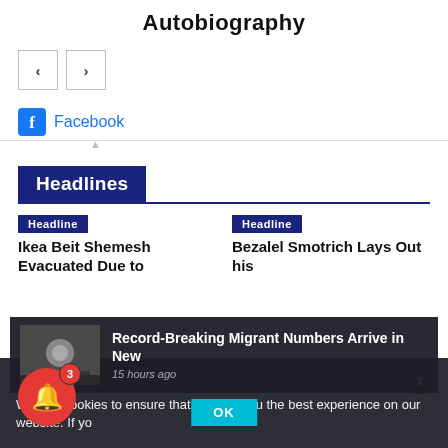Autobiography
[Figure (screenshot): Navigation prev/next buttons (left and right arrows)]
Facebook
Headlines
Headline
Ikea Beit Shemesh Evacuated Due to
Headline
Bezalel Smotrich Lays Out his
We use cookies to ensure that we give you the best experience on our website. If yo
Record-Breaking Migrant Numbers Arrive in New
15 hours ago
OK